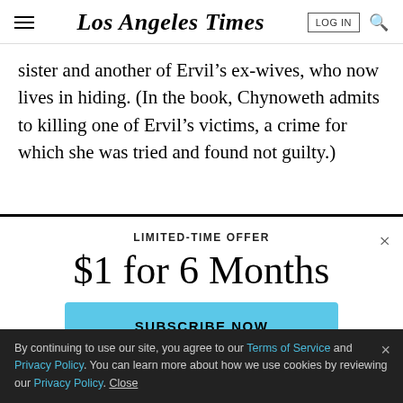Los Angeles Times
sister and another of Ervil’s ex-wives, who now lives in hiding. (In the book, Chynoweth admits to killing one of Ervil’s victims, a crime for which she was tried and found not guilty.)
LIMITED-TIME OFFER
$1 for 6 Months
SUBSCRIBE NOW
By continuing to use our site, you agree to our Terms of Service and Privacy Policy. You can learn more about how we use cookies by reviewing our Privacy Policy. Close